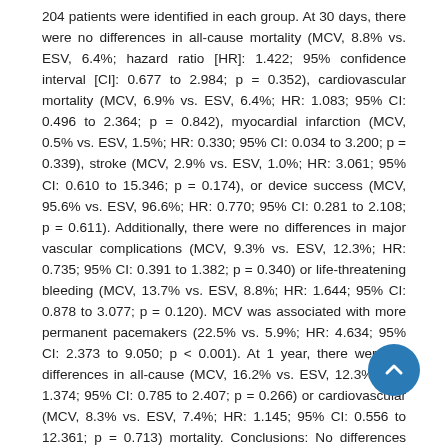204 patients were identified in each group. At 30 days, there were no differences in all-cause mortality (MCV, 8.8% vs. ESV, 6.4%; hazard ratio [HR]: 1.422; 95% confidence interval [CI]: 0.677 to 2.984; p = 0.352), cardiovascular mortality (MCV, 6.9% vs. ESV, 6.4%; HR: 1.083; 95% CI: 0.496 to 2.364; p = 0.842), myocardial infarction (MCV, 0.5% vs. ESV, 1.5%; HR: 0.330; 95% CI: 0.034 to 3.200; p = 0.339), stroke (MCV, 2.9% vs. ESV, 1.0%; HR: 3.061; 95% CI: 0.610 to 15.346; p = 0.174), or device success (MCV, 95.6% vs. ESV, 96.6%; HR: 0.770; 95% CI: 0.281 to 2.108; p = 0.611). Additionally, there were no differences in major vascular complications (MCV, 9.3% vs. ESV, 12.3%; HR: 0.735; 95% CI: 0.391 to 1.382; p = 0.340) or life-threatening bleeding (MCV, 13.7% vs. ESV, 8.8%; HR: 1.644; 95% CI: 0.878 to 3.077; p = 0.120). MCV was associated with more permanent pacemakers (22.5% vs. 5.9%; HR: 4.634; 95% CI: 2.373 to 9.050; p < 0.001). At 1 year, there were no differences in all-cause (MCV, 16.2% vs. ESV, 12.3%; HR: 1.374; 95% CI: 0.785 to 2.407; p = 0.266) or cardiovascular (MCV, 8.3% vs. ESV, 7.4%; HR: 1.145; 95% CI: 0.556 to 12.361; p = 0.713) mortality. Conclusions: No differences between the commercially available transfemoral transcatheter aortic valve implantation devices were observed at the adjusted analysis in Valve Academic Research Consortium outcomes, except for the